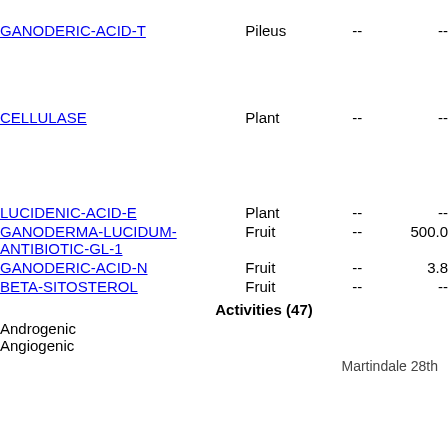| Compound | Part | -- | -- |
| --- | --- | --- | --- |
| GANODERIC-ACID-T | Pileus | -- | -- |
| CELLULASE | Plant | -- | -- |
| LUCIDENIC-ACID-E | Plant | -- | -- |
| GANODERMA-LUCIDUM-ANTIBIOTIC-GL-1 | Fruit | -- | 500.0 |
| GANODERIC-ACID-N | Fruit | -- | 3.8 |
| BETA-SITOSTEROL | Fruit | -- | -- |
Activities (47)
Androgenic
Angiogenic
Martindale 28th